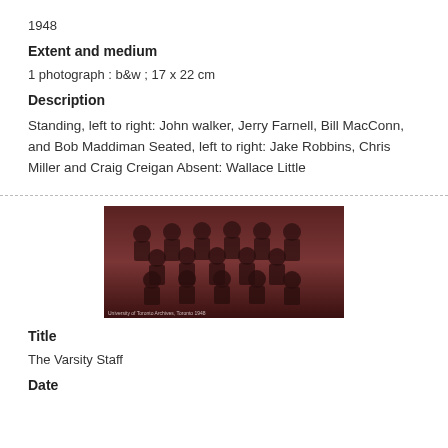1948
Extent and medium
1 photograph : b&w ; 17 x 22 cm
Description
Standing, left to right: John walker, Jerry Farnell, Bill MacConn, and Bob Maddiman Seated, left to right: Jake Robbins, Chris Miller and Craig Creigan Absent: Wallace Little
[Figure (photo): Black and white group photograph of The Varsity Staff, 1948, showing multiple people arranged in rows.]
Title
The Varsity Staff
Date